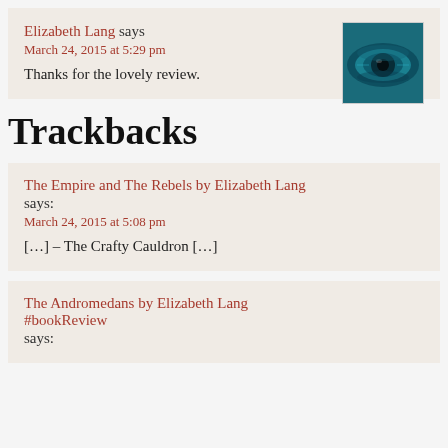Elizabeth Lang says
March 24, 2015 at 5:29 pm
Thanks for the lovely review.
Trackbacks
The Empire and The Rebels by Elizabeth Lang says:
March 24, 2015 at 5:08 pm
[…] – The Crafty Cauldron […]
The Andromedans by Elizabeth Lang
#bookReview says: